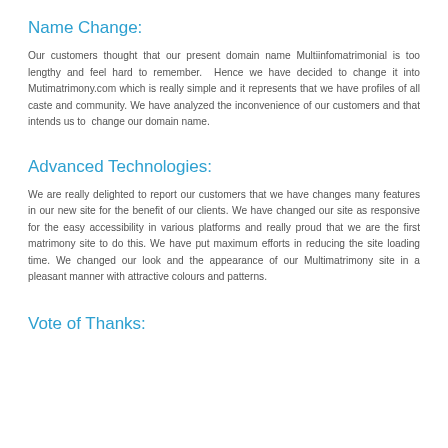Name Change:
Our customers thought that our present domain name Multiinfomatrimonial is too lengthy and feel hard to remember. Hence we have decided to change it into Mutimatrimony.com which is really simple and it represents that we have profiles of all caste and community. We have analyzed the inconvenience of our customers and that intends us to change our domain name.
Advanced Technologies:
We are really delighted to report our customers that we have changes many features in our new site for the benefit of our clients. We have changed our site as responsive for the easy accessibility in various platforms and really proud that we are the first matrimony site to do this. We have put maximum efforts in reducing the site loading time. We changed our look and the appearance of our Multimatrimony site in a pleasant manner with attractive colours and patterns.
Vote of Thanks: